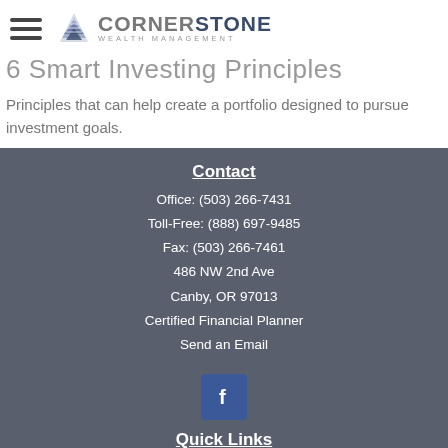Cornerstone Wealth Management
6 Smart Investing Principles
Principles that can help create a portfolio designed to pursue investment goals.
Contact
Office: (503) 266-7431
Toll-Free: (888) 697-9485
Fax: (503) 266-7461
486 NW 2nd Ave
Canby, OR 97013
Certified Financial Planner
Send an Email
[Figure (logo): Facebook logo button]
Quick Links